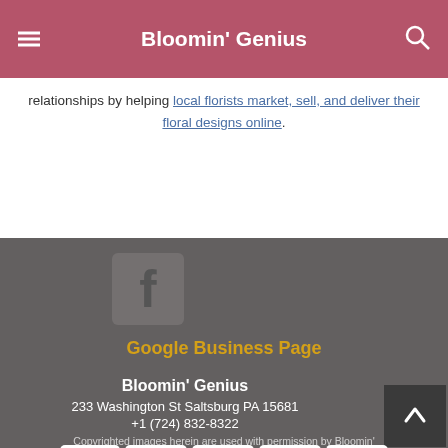Bloomin' Genius
relationships by helping local florists market, sell, and deliver their floral designs online.
[Figure (logo): Facebook icon square logo in grey]
Google Business Page
Bloomin' Genius
233 Washington St Saltsburg PA 15681
+1 (724) 832-8322
[Figure (other): Payment method icons: Visa, American Express, Discover, Mastercard, Apple Pay]
Copyrighted images herein are used with permission by Bloomin'